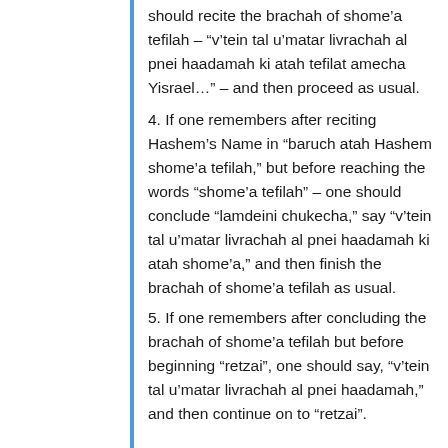should recite the brachah of shome’a tefilah – “v’tein tal u’matar livrachah al pnei haadamah ki atah tefilat amecha Yisrael…” – and then proceed as usual.
4. If one remembers after reciting Hashem’s Name in “baruch atah Hashem shome’a tefilah,” but before reaching the words “shome’a tefilah” – one should conclude “lamdeini chukecha,” say “v’tein tal u’matar livrachah al pnei haadamah ki atah shome’a,” and then finish the brachah of shome’a tefilah as usual.
5. If one remembers after concluding the brachah of shome’a tefilah but before beginning “retzai”, one should say, “v’tein tal u’matar livrachah al pnei haadamah,” and then continue on to “retzai”.